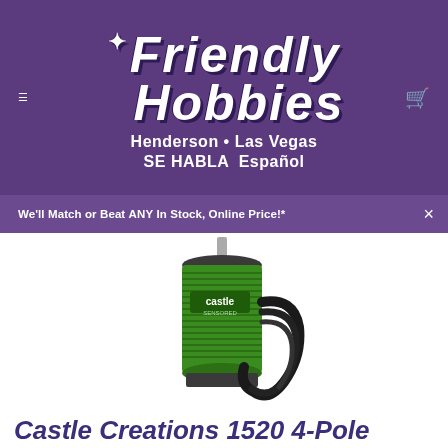[Figure (logo): Friendly Hobbies logo with Henderson • Las Vegas and SE HABLA Español text on purple background]
We'll Match or Beat ANY In Stock, Online Price!*
[Figure (photo): Castle Creations sensored brushless motor in green with black wiring, cylindrical form factor]
Castle Creations 1520 4-Pole